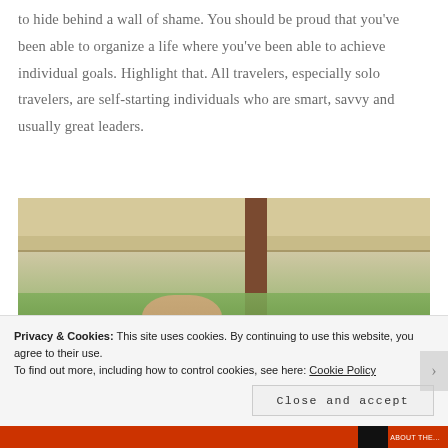to hide behind a wall of shame. You should be proud that you've been able to organize a life where you've been able to achieve individual goals. Highlight that. All travelers, especially solo travelers, are self-starting individuals who are smart, savvy and usually great leaders.
[Figure (photo): Photo of a person under a pergola/canopy structure with tropical foliage in the background. The person appears to be wearing glasses and has a flower in their hair.]
Privacy & Cookies: This site uses cookies. By continuing to use this website, you agree to their use.
To find out more, including how to control cookies, see here: Cookie Policy
Close and accept